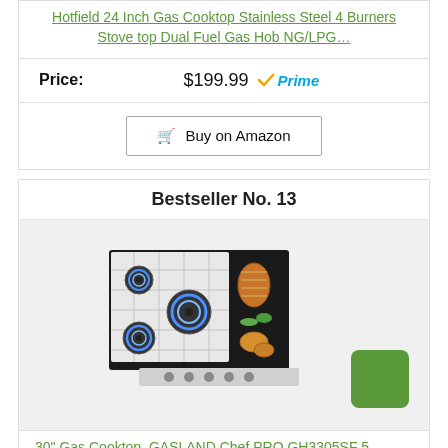Hotfield 24 Inch Gas Cooktop Stainless Steel 4 Burners Stove top Dual Fuel Gas Hob NG/LPG…
Price: $199.99 ✓Prime
Buy on Amazon
Bestseller No. 13
[Figure (photo): Gas cooktop with 5 burners showing blue flames, stainless steel surface with black grill section on right showing grilled food]
30" Gas Cooktop, GASLAND Chef PRO GH3305SF 5